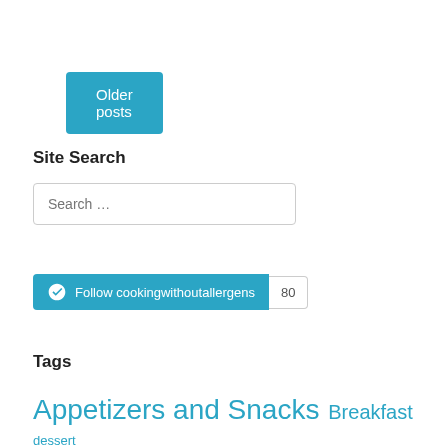Older posts
Site Search
Search …
[Figure (other): WordPress Follow button widget for cookingwithoutallergens with follower count 80]
Tags
Appetizers and Snacks Breakfast dessert Desserts Entries olive oil pie crust